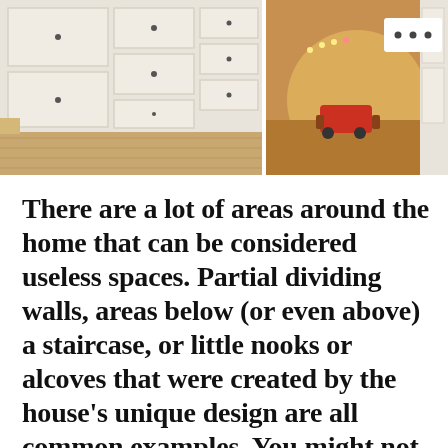[Figure (photo): Two interior home photos side by side: left shows white built-in staircase storage drawers with wood floor, right shows a warmly lit room with a child's toy on the floor and white cabinetry visible.]
There are a lot of areas around the home that can be considered useless spaces. Partial dividing walls, areas below (or even above) a staircase, or little nooks or alcoves that were created by the house’s unique design are all common examples. You might not think much about these areas. However, if you consider them for a moment, you might see how they